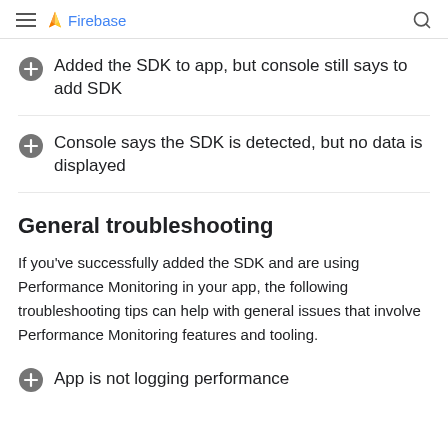Firebase
Added the SDK to app, but console still says to add SDK
Console says the SDK is detected, but no data is displayed
General troubleshooting
If you've successfully added the SDK and are using Performance Monitoring in your app, the following troubleshooting tips can help with general issues that involve Performance Monitoring features and tooling.
App is not logging performance